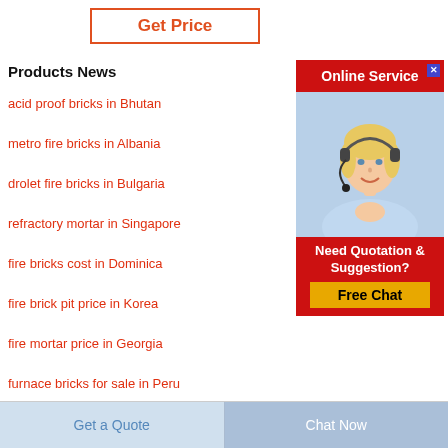Get Price
Products News
acid proof bricks in Bhutan
metro fire bricks in Albania
drolet fire bricks in Bulgaria
refractory mortar in Singapore
fire bricks cost in Dominica
fire brick pit price in Korea
fire mortar price in Georgia
furnace bricks for sale in Peru
[Figure (illustration): Online Service widget with a customer service representative photo, red header saying 'Online Service', and a 'Need Quotation & Suggestion? Free Chat' call-to-action section.]
Get a Quote
Chat Now